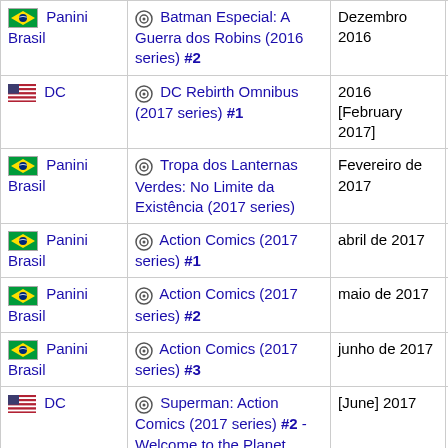| Publisher | Issue | Date | Code |
| --- | --- | --- | --- |
| 🇧🇷 Panini Brasil | ⊙ Batman Especial: A Guerra dos Robins (2016 series) #2 | Dezembro 2016 | 2016-12 |
| 🇺🇸 DC | ⊙ DC Rebirth Omnibus (2017 series) #1 | 2016 [February 2017] | 2016-12-07 |
| 🇧🇷 Panini Brasil | ⊙ Tropa dos Lanternas Verdes: No Limite da Existência (2017 series) | Fevereiro de 2017 | 2017-02 |
| 🇧🇷 Panini Brasil | ⊙ Action Comics (2017 series) #1 | abril de 2017 | 2017-04 |
| 🇧🇷 Panini Brasil | ⊙ Action Comics (2017 series) #2 | maio de 2017 | 2017-05 |
| 🇧🇷 Panini Brasil | ⊙ Action Comics (2017 series) #3 | junho de 2017 | 2017-06 |
| 🇺🇸 DC | ⊙ Superman: Action Comics (2017 series) #2 - Welcome to the Planet | [June] 2017 | 2017-04-19 |
| 🇧🇷 Panini Brasil | ⊙ Action Comics (2017 series) #4 | julho de 2017 | 2017-07 |
| 🇧🇷 Panini | ⊙ Action Comics (2017 series) | agosto de | 2017-08 |